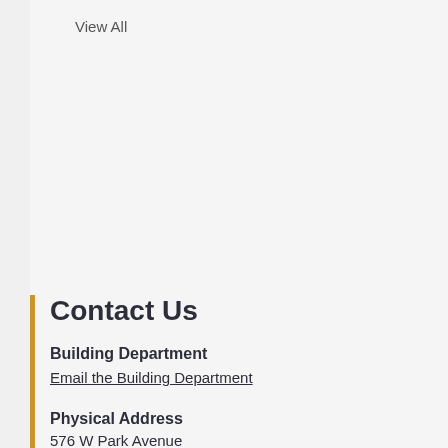View All
Contact Us
Building Department
Email the Building Department
Physical Address
576 W Park Avenue
Barberton, OH 44203
Phone: 330-848-6730
Fax: 330-848-6654